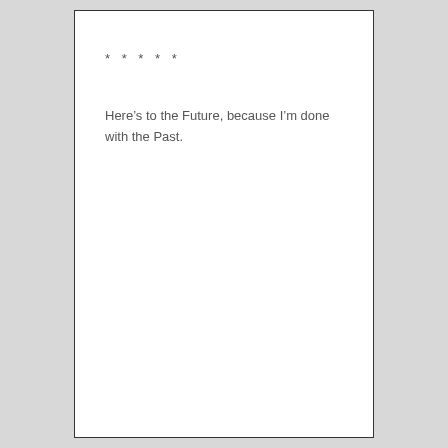* * * * *
Here’s to the Future, because I’m done with the Past.